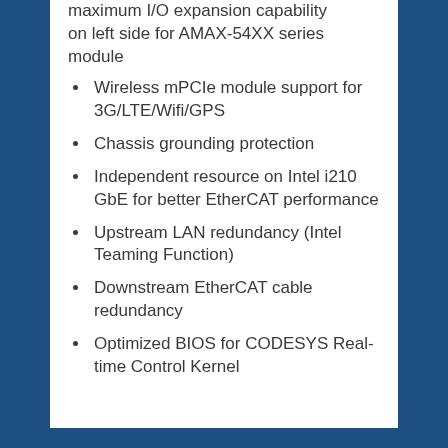maximum I/O expansion capability on left side for AMAX-54XX series module
Wireless mPCIe module support for 3G/LTE/Wifi/GPS
Chassis grounding protection
Independent resource on Intel i210 GbE for better EtherCAT performance
Upstream LAN redundancy (Intel Teaming Function)
Downstream EtherCAT cable redundancy
Optimized BIOS for CODESYS Real-time Control Kernel